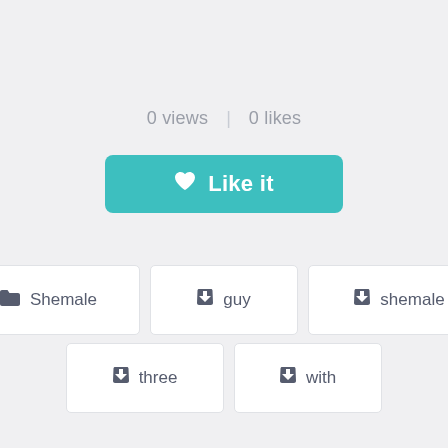0 views  |  0 likes
[Figure (other): Teal 'Like it' button with white heart icon]
Shemale
guy
shemale
three
with